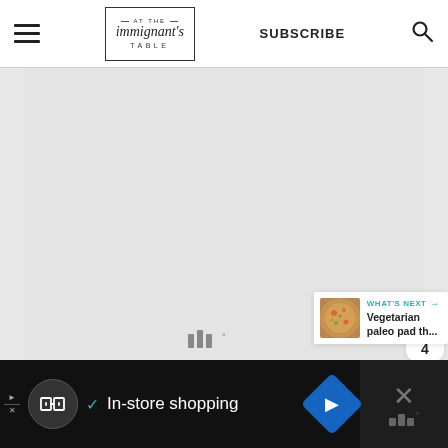At The Immigrant's Table — SUBSCRIBE
[Figure (screenshot): Gray content area placeholder — main article image area]
[Figure (infographic): What's Next panel: Vegetarian paleo pad th... with pizza thumbnail]
WHAT'S NEXT → Vegetarian paleo pad th...
[Figure (infographic): Bottom advertisement bar: In-store shopping with navigation icon and close button]